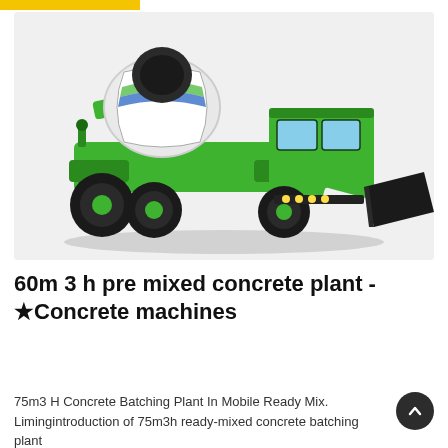[Figure (photo): A green self-loading concrete mixer truck with a white and gray drum, large black tires, a cab on the right side, and a front-mounted black loading bucket, photographed against a light gray background.]
60m 3 h pre mixed concrete plant - ★Concrete machines
75m3 H Concrete Batching Plant In Mobile Ready Mix. Limingintroduction of 75m3h ready-mixed concrete batching plant